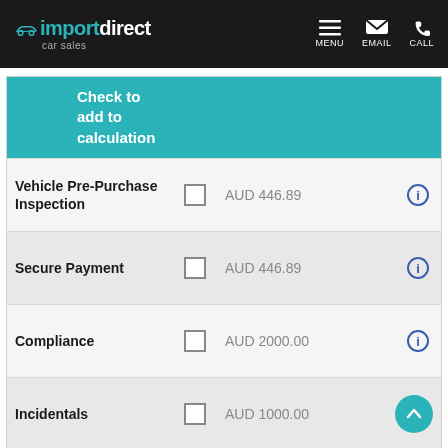[Figure (logo): Import Direct Car Sales logo with car icon in teal on black header background, with MENU, EMAIL, CALL navigation icons]
|  | Check to add to calculation |  |  |
| --- | --- | --- | --- |
| Vehicle Pre-Purchase Inspection | ☐ | AUD 446.89 | ⓘ |
| Secure Payment | ☐ | AUD 446.89 | ⓘ |
| Compliance | ☐ | AUD 2000.00 | ⓘ |
| Incidentals | ☐ | AUD 1000.00 | ↑ |
GOVERNMENT CHARGES